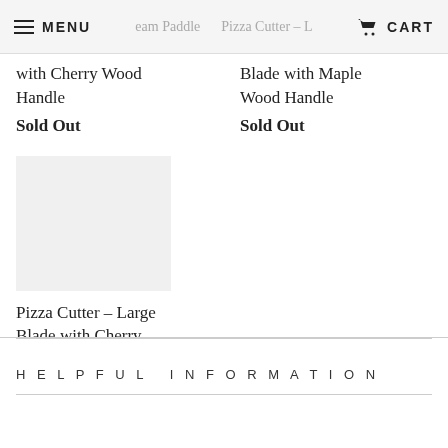MENU | [nav center text partially visible] | CART
with Cherry Wood Handle
Sold Out
Blade with Maple Wood Handle
Sold Out
[Figure (photo): Product image placeholder box for Pizza Cutter - Large Blade with Cherry Wood Handle]
Pizza Cutter – Large Blade with Cherry Wood Handle
Sold Out
HELPFUL INFORMATION